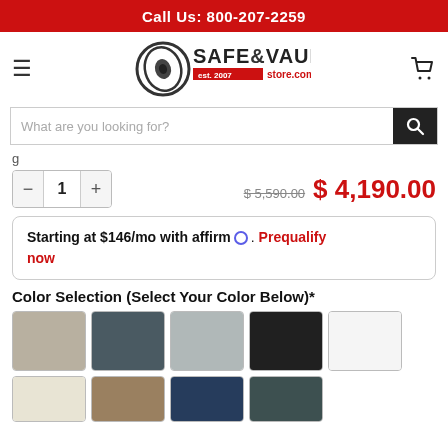Call Us: 800-207-2259
[Figure (logo): Safe & Vault Store.com logo with circular emblem and text]
What are you looking for? [search bar]
$ 5,590.00  $ 4,190.00 (quantity: 1)
Starting at $146/mo with affirm. Prequalify now
Color Selection (Select Your Color Below)*
[Figure (illustration): Color swatches: tan/beige, dark slate blue, light gray, black, white, cream, tan fabric, navy blue, dark teal]